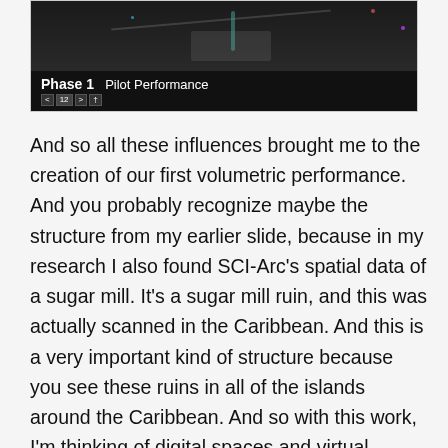[Figure (screenshot): Screenshot of a video/slideshow player showing Phase 1 Pilot Performance label on a dark background with navigation controls]
And so all these influences brought me to the creation of our first volumetric performance. And you probably recognize maybe the structure from my earlier slide, because in my research I also found SCI-Arc's spatial data of a sugar mill. It's a sugar mill ruin, and this was actually scanned in the Caribbean. And this is a very important kind of structure because you see these ruins in all of the islands around the Caribbean. And so with this work, I'm thinking of digital spaces and virtual environments as a possible site for healing and reclamation of spaces that were historically filled with pain and